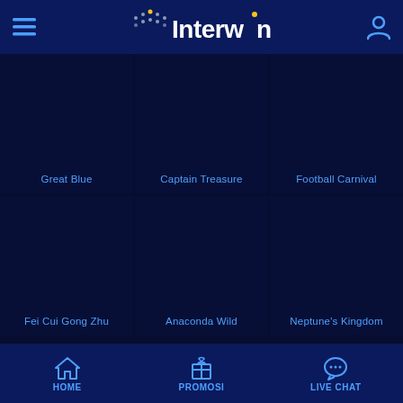Interwin
[Figure (screenshot): Game thumbnail for Great Blue slot game]
Great Blue
[Figure (screenshot): Game thumbnail for Captain Treasure slot game]
Captain Treasure
[Figure (screenshot): Game thumbnail for Football Carnival slot game]
Football Carnival
[Figure (screenshot): Game thumbnail for Fei Cui Gong Zhu slot game]
Fei Cui Gong Zhu
[Figure (screenshot): Game thumbnail for Anaconda Wild slot game]
Anaconda Wild
[Figure (screenshot): Game thumbnail for Neptune's Kingdom slot game]
Neptune's Kingdom
HOME  PROMOSI  LIVE CHAT